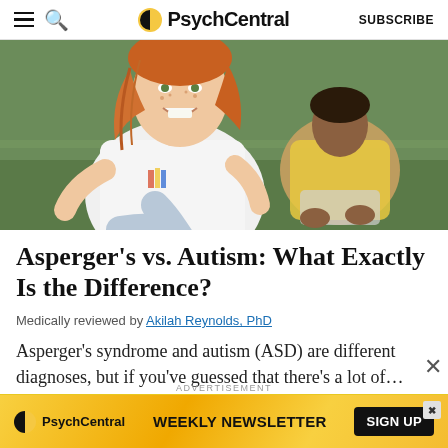PsychCentral — SUBSCRIBE
[Figure (photo): Two girls sitting on grass outdoors — a smiling red-haired girl in a white t-shirt in the foreground and a girl in a yellow top in the background]
Asperger's vs. Autism: What Exactly Is the Difference?
Medically reviewed by Akilah Reynolds, PhD
Asperger's syndrome and autism (ASD) are different diagnoses, but if you've guessed that there's a lot of...
[Figure (infographic): PsychCentral advertisement banner: PsychCentral WEEKLY NEWSLETTER — SIGN UP button on yellow/orange background]